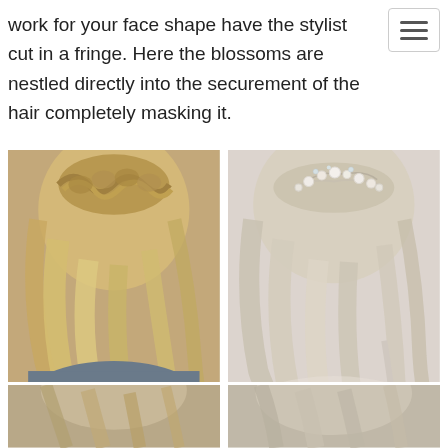hamburger menu button
work for your face shape have the stylist cut in a fringe. Here the blossoms are nestled directly into the securement of the hair completely masking it.
[Figure (photo): Two side-by-side photos of women with half-up hairstyles: left photo shows a braided half-up style with wavy blonde hair (HMS watermark), right photo shows a half-up style with pearl/crystal hair accessory and wavy blonde hair. Below are two partial photos of additional half-up hairstyles.]